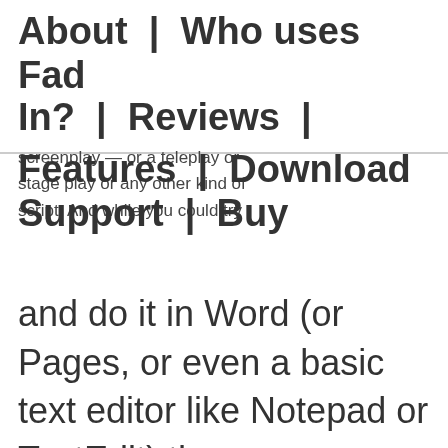About | Who uses Fade In? | Reviews | Features | Download | Support | Buy
screenplay — or a teleplay or stage play or any other kind of script. And while you could try and do it in Word (or Pages, or even a basic text editor like Notepad or TextEdit) there are some things — lots and lots of things, actually — that only proper screenwriting software can do. That's where Fade In